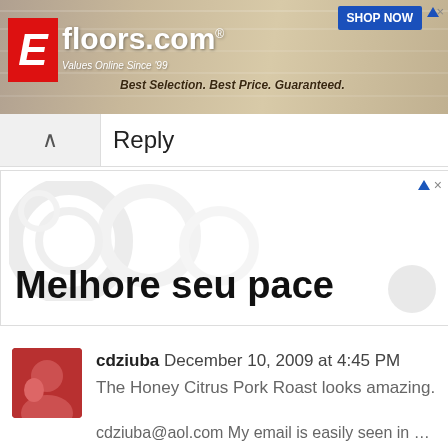[Figure (other): Efloors.com banner advertisement showing flooring background, logo with red E, tagline 'Values Online Since 99', 'Best Selection. Best Price. Guaranteed.' text, and 'SHOP NOW' button]
Reply
[Figure (other): Advertisement with decorative circle elements and large bold text 'Melhore seu pace']
cdziuba December 10, 2009 at 4:45 PM
The Honey Citrus Pork Roast looks amazing.
cdziuba@aol.com My email is easily seen in my profile